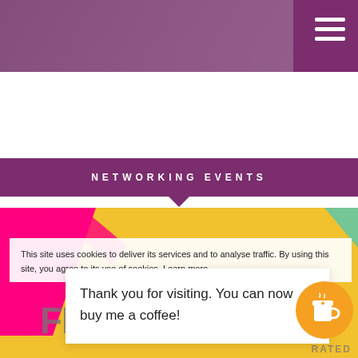NETWORKING EVENTS
[Figure (illustration): Colorful promotional graphic with 'FIND BLOGGERS' text in large grey letters over yellow and hot-pink background, with smaller text reading 'DISCOVER THE MOST EFFICIENT WAYS', 'CAMPAIGNS', overlaid with a cookie consent notice and a 'Thank you for visiting. You can now buy me a coffee!' popup, and a coffee cup button icon in orange circle.]
This site uses cookies to deliver its services and to analyse traffic. By using this site, you agree to its use of cookies. Learn more
Thank you for visiting. You can now buy me a coffee!